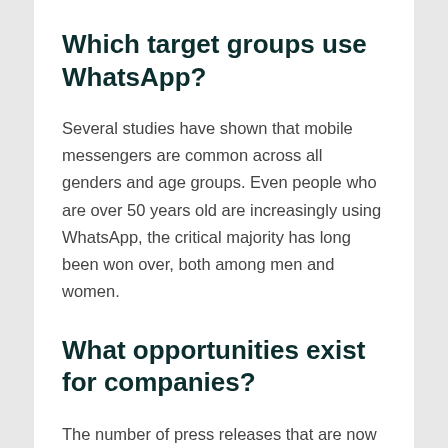Which target groups use WhatsApp?
Several studies have shown that mobile messengers are common across all genders and age groups. Even people who are over 50 years old are increasingly using WhatsApp, the critical majority has long been won over, both among men and women.
What opportunities exist for companies?
The number of press releases that are now also being sent through WhatsApp is...